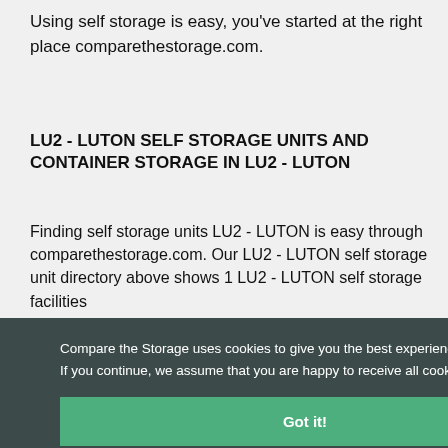Using self storage is easy, you've started at the right place comparethestorage.com.
LU2 - LUTON SELF STORAGE UNITS AND CONTAINER STORAGE IN LU2 - LUTON
Finding self storage units LU2 - LUTON is easy through comparethestorage.com. Our LU2 - LUTON self storage unit directory above shows 1 LU2 - LUTON self storage facilities ... TON self ... To see more ... where you ... - LUTON ... torage listing ... ation request ... ompanies. You ... ge search with ... splay listings ... of LU2 - LUTON self storage companies that includes
Compare the Storage uses cookies to give you the best experience and ensure that the website functions correctly. If you continue, we assume that you are happy to receive all cookies from our website. Learn more
Got it!